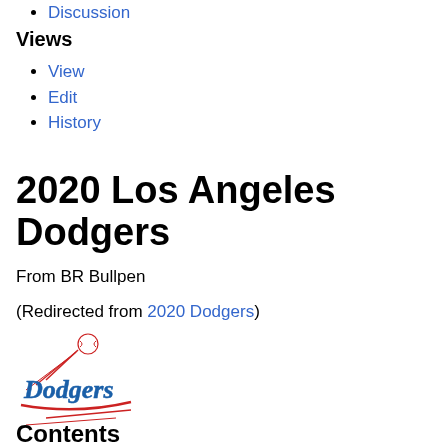Discussion
Views
View
Edit
History
2020 Los Angeles Dodgers
From BR Bullpen
(Redirected from 2020 Dodgers)
[Figure (logo): Los Angeles Dodgers logo with baseball and script 'Dodgers' text]
Contents